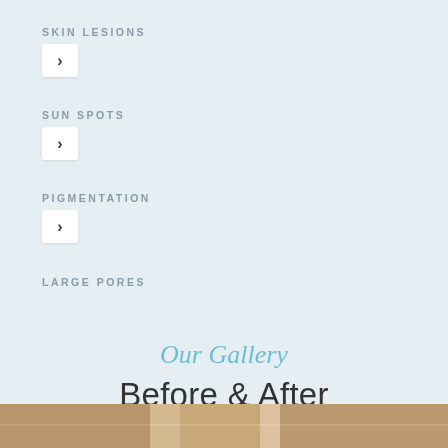SKIN LESIONS
›
SUN SPOTS
›
PIGMENTATION
›
LARGE PORES
Our Gallery
Before & After
[Figure (photo): Bottom strip showing a before and after skin treatment photo]